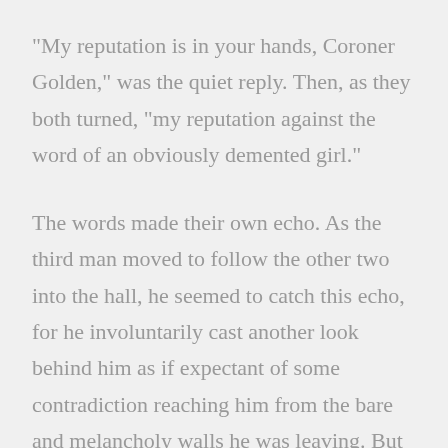"My reputation is in your hands, Coroner Golden," was the quiet reply. Then, as they both turned, "my reputation against the word of an obviously demented girl."
The words made their own echo. As the third man moved to follow the other two into the hall, he seemed to catch this echo, for he involuntarily cast another look behind him as if expectant of some contradiction reaching him from the bare and melancholy walls he was leaving. But no such contradiction came.